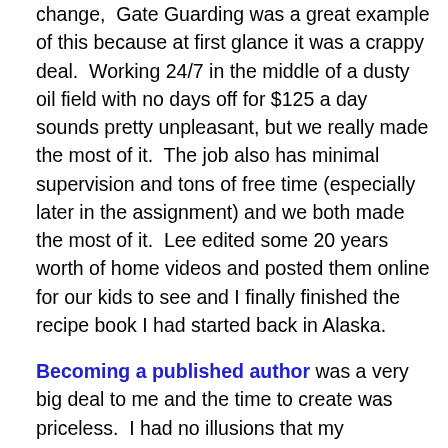change,  Gate Guarding was a great example of this because at first glance it was a crappy deal.  Working 24/7 in the middle of a dusty oil field with no days off for $125 a day sounds pretty unpleasant, but we really made the most of it.  The job also has minimal supervision and tons of free time (especially later in the assignment) and we both made the most of it.  Lee edited some 20 years worth of home videos and posted them online for our kids to see and I finally finished the recipe book I had started back in Alaska.
Becoming a published author was a very big deal to me and the time to create was priceless.  I had no illusions that my cookbook would become a best seller, but the experience meant something to me and the response I have received from our readers was wonderful. And despite the low wages we were able to put some money